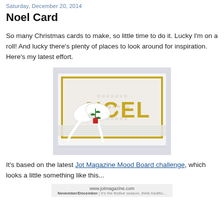Saturday, December 20, 2014
Noel Card
So many Christmas cards to make, so little time to do it. Lucky I'm on a roll! And lucky there's plenty of places to look around for inspiration. Here's my latest effort.
[Figure (photo): A handmade Christmas card featuring large gold 'NOEL' letters on a white patterned background with a gold border, decorated with a white satin ribbon bow and small holly/pine sprig accent.]
It's based on the latest Jot Magazine Mood Board challenge, which looks a little something like this...
[Figure (photo): Bottom strip of a Jot Magazine page showing the website url www.jotmagazine.com and the text November/December | It's the festive season, think traditio...]